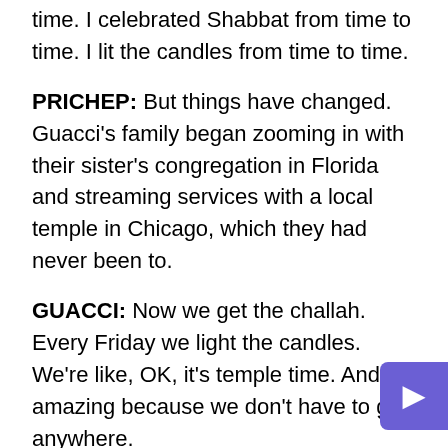time. I celebrated Shabbat from time to time. I lit the candles from time to time.
PRICHEP: But things have changed. Guacci's family began zooming in with their sister's congregation in Florida and streaming services with a local temple in Chicago, which they had never been to.
GUACCI: Now we get the challah. Every Friday we light the candles. We're like, OK, it's temple time. And it's amazing because we don't have to go anywhere.
PRICHEP: On Saturdays, they join Shabbat ShaMorning. It's a children's service in New York that Guacci says is especially welcoming to them